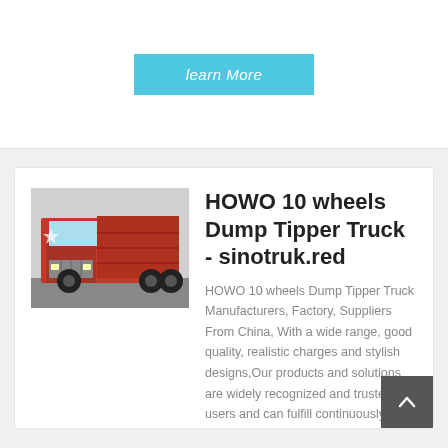learn More
[Figure (photo): Red HOWO dump tipper truck front view]
HOWO 10 wheels Dump Tipper Truck - sinotruk.red
HOWO 10 wheels Dump Tipper Truck Manufacturers, Factory, Suppliers From China, With a wide range, good quality, realistic charges and stylish designs,Our products and solutions are widely recognized and trusted by users and can fulfill continuously changing economic and social needs.